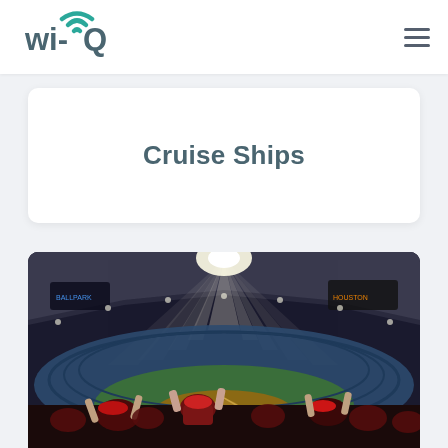wi-Q navigation bar with logo and hamburger menu
Cruise Ships
[Figure (photo): Aerial view of a packed baseball stadium with crowd cheering in foreground, bright sunlight streaming through the roof opening, field visible in background]